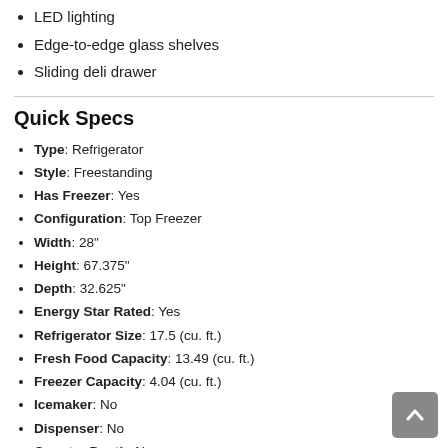LED lighting
Edge-to-edge glass shelves
Sliding deli drawer
Quick Specs
Type: Refrigerator
Style: Freestanding
Has Freezer: Yes
Configuration: Top Freezer
Width: 28"
Height: 67.375"
Depth: 32.625"
Energy Star Rated: Yes
Refrigerator Size: 17.5 (cu. ft.)
Fresh Food Capacity: 13.49 (cu. ft.)
Freezer Capacity: 4.04 (cu. ft.)
Icemaker: No
Dispenser: No
Counter Depth: No
Sabbath Mode: No
WiFi Connected: No
See More